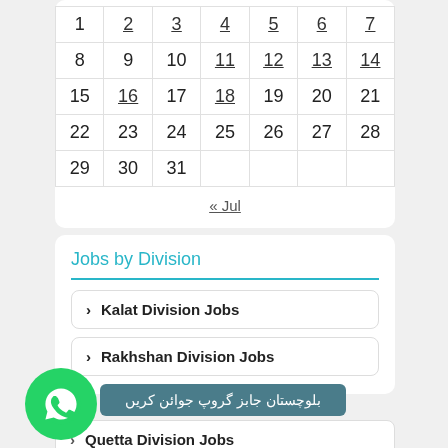| 1 | 2 | 3 | 4 | 5 | 6 | 7 |
| 8 | 9 | 10 | 11 | 12 | 13 | 14 |
| 15 | 16 | 17 | 18 | 19 | 20 | 21 |
| 22 | 23 | 24 | 25 | 26 | 27 | 28 |
| 29 | 30 | 31 |  |  |  |  |
« Jul
Jobs by Division
> Kalat Division Jobs
> Rakhshan Division Jobs
بلوچستان جابز گروپ جوائن کریں
> Quetta Division Jobs